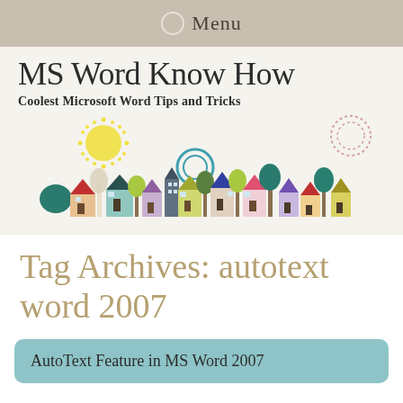Menu
MS Word Know How
Coolest Microsoft Word Tips and Tricks
[Figure (illustration): Colorful cartoon illustration of small houses, trees, and a sun forming a town skyline banner]
Tag Archives: autotext word 2007
AutoText Feature in MS Word 2007